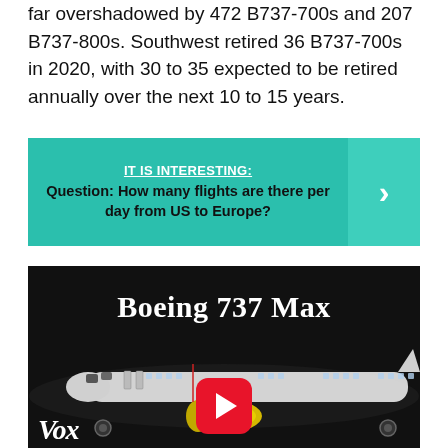far overshadowed by 472 B737-700s and 207 B737-800s. Southwest retired 36 B737-700s in 2020, with 30 to 35 expected to be retired annually over the next 10 to 15 years.
[Figure (infographic): Teal banner with 'IT IS INTERESTING:' label and question 'Question: How many flights are there per day from US to Europe?' with arrow button on right]
[Figure (screenshot): YouTube video thumbnail for Boeing 737 Max with dark background, airplane illustration and Vox branding, showing play button]